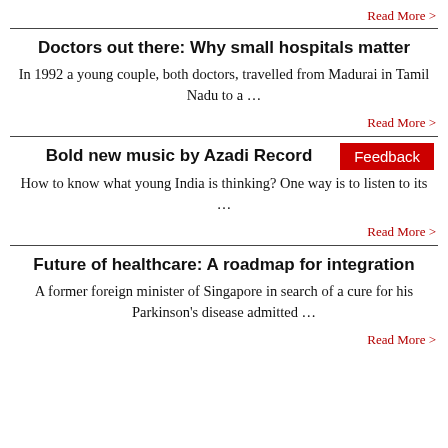Read More >
Doctors out there: Why small hospitals matter
In 1992 a young couple, both doctors, travelled from Madurai in Tamil Nadu to a …
Read More >
Bold new music by Azadi Record
How to know what young India is thinking? One way is to listen to its …
Read More >
Future of healthcare: A roadmap for integration
A former foreign minister of Singapore in search of a cure for his Parkinson's disease admitted …
Read More >